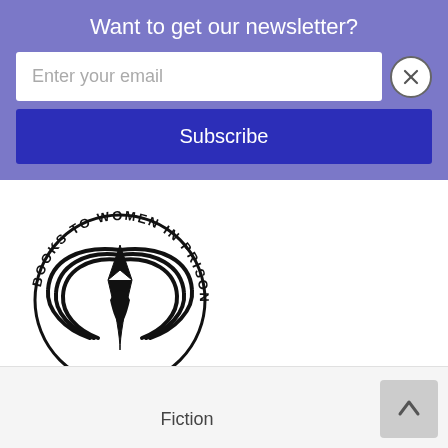Want to get our newsletter?
[Figure (logo): Books to Women in Prison circular logo with stylized book/wing design]
Fiction